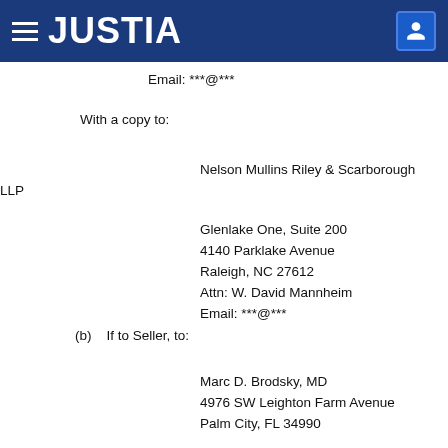JUSTIA
Email: ***@***
With a copy to:
Nelson Mullins Riley & Scarborough LLP
Glenlake One, Suite 200
4140 Parklake Avenue
Raleigh, NC 27612
Attn: W. David Mannheim
Email: ***@***
(b)   If to Seller, to:
Marc D. Brodsky, MD
4976 SW Leighton Farm Avenue
Palm City, FL 34990